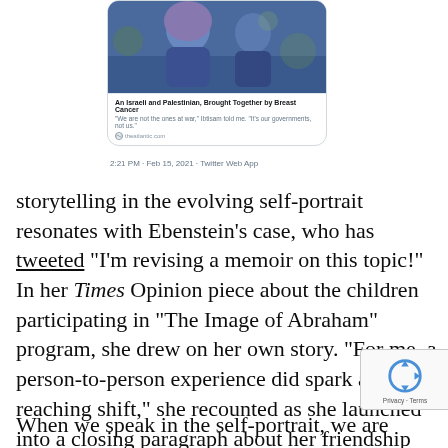[Figure (screenshot): Tweet card showing a photo of two women (one wearing a blue hijab), with the article title 'An Israeli and Palestinian, Brought Together by Breast Cancer' and a quote 'We are not the ones at war,' Ibtisam told me. 'It's our governments, not us.' from theatlantic.com. Timestamp: 2:21 PM · Feb 15, 2021 · Twitter Web App]
storytelling in the evolving self-portrait resonates with Ebenstein's case, who has tweeted "I'm revising a memoir on this topic!" In her Times Opinion piece about the children participating in "The Image of Abraham" program, she drew on her own story. "For me, a person-to-person experience did spark a far-reaching shift," she recounted as she launched into a closing paragraph about her friendship with a Palestinian woman who lives across separation barrier.
When we speak in the self-portrait, we are...